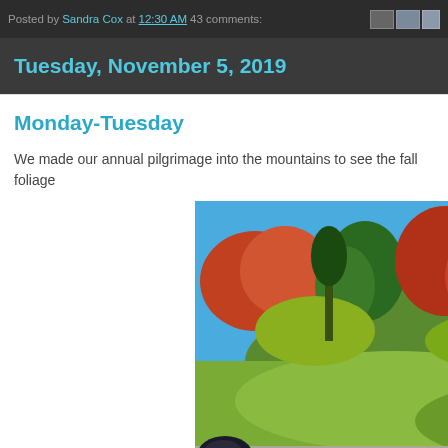Posted by Sandra Cox at 12:30 AM   43 comments:
Tuesday, November 5, 2019
Monday-Tuesday
We made our annual pilgrimage into the mountains to see the fall foliage
[Figure (photo): Fall foliage photograph taken from a car window showing colorful autumn trees (red, orange, green) on a hillside with bright blue sky]